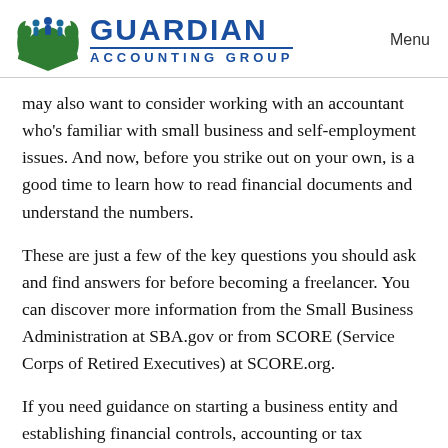Guardian Accounting Group | Menu
may also want to consider working with an accountant who's familiar with small business and self-employment issues. And now, before you strike out on your own, is a good time to learn how to read financial documents and understand the numbers.
These are just a few of the key questions you should ask and find answers for before becoming a freelancer. You can discover more information from the Small Business Administration at SBA.gov or from SCORE (Service Corps of Retired Executives) at SCORE.org.
If you need guidance on starting a business entity and establishing financial controls, accounting or tax structure for your new business, please let our team know. We'd be happy...